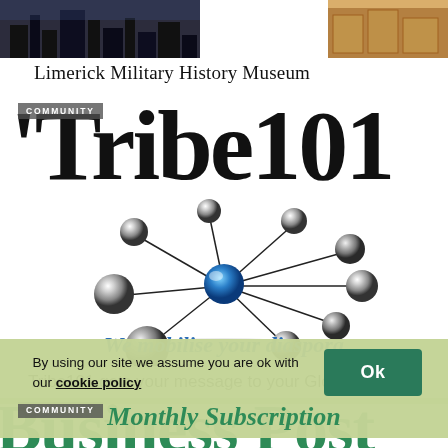[Figure (photo): Two photos at top: left showing a dark cityscape/military scene, right showing a museum interior with display cases]
Limerick Military History Museum
[Figure (illustration): Tribe101 advertisement: large serif 'Tribe101' title with COMMUNITY badge, network diagram showing silver metallic balls connected to a central blue ball with lines, and tagline 'We mobilise your diaspora']
Tribe101 gets your message to your Global Diaspora
[Figure (screenshot): Bottom portion showing Business Post text in green with COMMUNITY badge and Monthly Subscription text, overlaid by a cookie consent notice reading 'By using our site we assume you are ok with our cookie policy' with an Ok button]
By using our site we assume you are ok with our cookie policy
Ok
Monthly Subscription